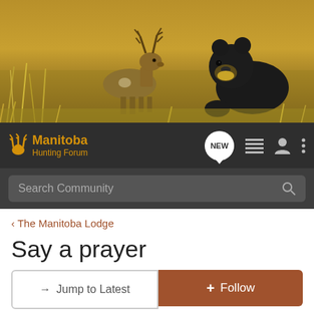[Figure (photo): Hero banner image showing a white-tailed deer and a black bear in golden grass/field setting]
[Figure (logo): Manitoba Hunting Forum logo with deer icon and orange text on dark navbar background]
Search Community
< The Manitoba Lodge
Say a prayer
→ Jump to Latest
+ Follow
1 - 20 of 22 Posts
1 of 2
Riggs · Registered